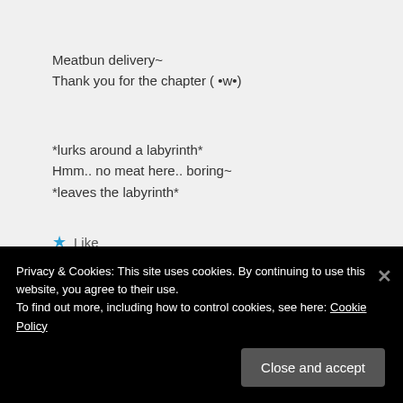Meatbun delivery~
Thank you for the chapter ( •w•)
*lurks around a labyrinth*
Hmm.. no meat here.. boring~
*leaves the labyrinth*
★ Like
Reply ↓
Privacy & Cookies: This site uses cookies. By continuing to use this website, you agree to their use.
To find out more, including how to control cookies, see here: Cookie Policy
Close and accept